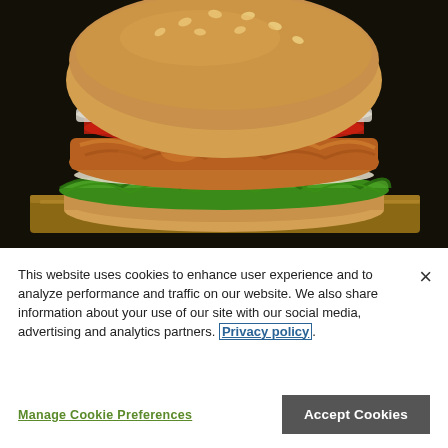[Figure (photo): Close-up photograph of a crispy fried chicken sandwich with lettuce, tomato, and sauce on a sesame seed bun, served on a wooden board against a dark background.]
This website uses cookies to enhance user experience and to analyze performance and traffic on our website. We also share information about your use of our site with our social media, advertising and analytics partners. Privacy policy.
Manage Cookie Preferences
Accept Cookies